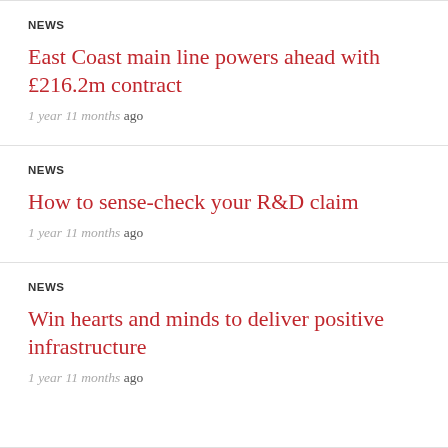NEWS
East Coast main line powers ahead with £216.2m contract
1 year 11 months ago
NEWS
How to sense-check your R&D claim
1 year 11 months ago
NEWS
Win hearts and minds to deliver positive infrastructure
1 year 11 months ago